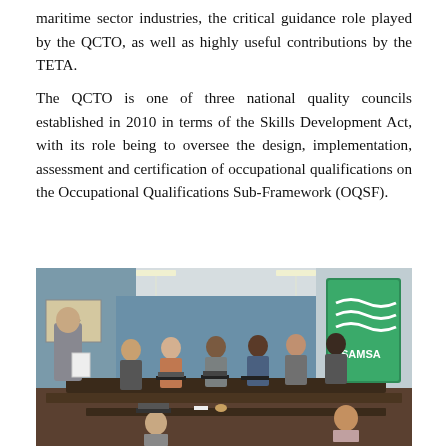maritime sector industries, the critical guidance role played by the QCTO, as well as highly useful contributions by the TETA.
The QCTO is one of three national quality councils established in 2010 in terms of the Skills Development Act, with its role being to oversee the design, implementation, assessment and certification of occupational qualifications on the Occupational Qualifications Sub-Framework (OQSF).
[Figure (photo): A meeting or workshop scene in a conference room. A presenter (older man in grey jacket, viewed from behind) stands at the front holding papers. Participants sit around tables with laptops and documents. A green and white SAMSA banner/logo is visible in the background on the right. Blue-painted walls, ceiling lights, and a map on the left wall are visible.]